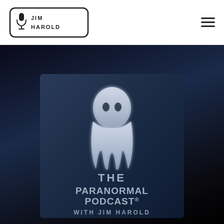[Figure (logo): Jim Harold logo with microphone icon inside a rounded rectangle border]
[Figure (illustration): The Paranormal Podcast with Jim Harold cover art: ghostly figure in white sheet on dark blue background with text 'THE PARANORMAL PODCAST® WITH JIM HAROLD']